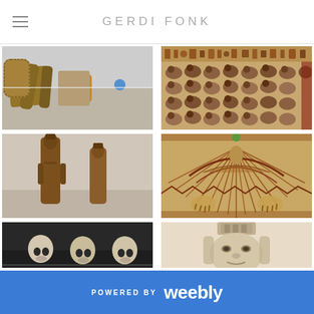GERDI FONK
[Figure (photo): Museum display case with ancient Egyptian artifacts including wrapped mummies and baskets]
[Figure (photo): Ancient Egyptian papyrus painting showing rows of birds (likely ibis or ducks) with hieroglyphics border at top]
[Figure (photo): Two ancient Egyptian wooden statuettes/figurines standing upright]
[Figure (photo): Detailed ancient Egyptian mummy case painting with winged goddess figure and geometric patterns]
[Figure (photo): Dark display with small carved skull or face artifacts]
[Figure (photo): Stone or plaster carved face/mask with elaborate headdress, ancient Egyptian style]
POWERED BY weebly